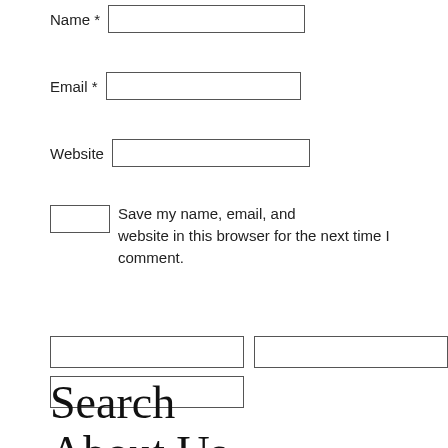Name *
Email *
Website
Save my name, email, and website in this browser for the next time I comment.
Search
About Us